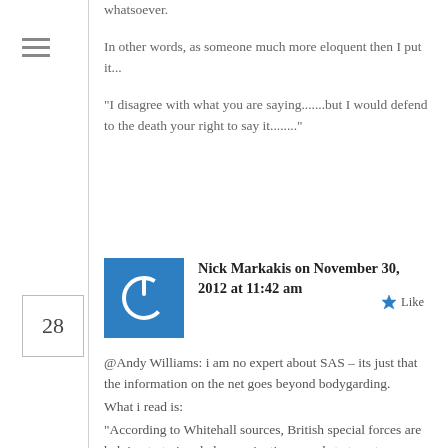whatsoever.
In other words, as someone much more eloquent then I put it...
"I disagree with what you are saying.......but I would defend to the death your right to say it........"
Nick Markakis on November 30, 2012 at 11:42 am
@Andy Williams: i am no expert about SAS – its just that the information on the net goes beyond bodygarding.
What i read is:
"According to Whitehall sources, British special forces are helping to train rebel assassination squads to target President Assad and his warlords.